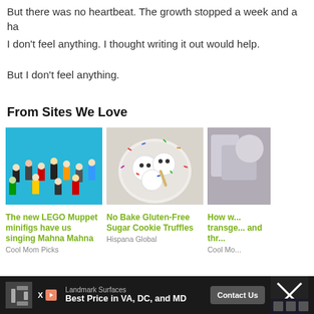But there was no heartbeat. The growth stopped a week and a ha
I don't feel anything. I thought writing it out would help.
But I don't feel anything.
From Sites We Love
[Figure (photo): LEGO Muppet minifigures on blue background]
[Figure (photo): Bowl of No Bake Gluten-Free Sugar Cookie Truffles with sprinkles]
[Figure (photo): Partially visible third article image]
The new LEGO Muppet minifigs have us singing Mahna Mahna
No Bake Gluten-Free Sugar Cookie Truffles
How w... transge... and thr...
Cool Mom Picks
Hispana Global
Cool Mo...
Landmark Surfaces Best Price in VA, DC, and MD Contact Us